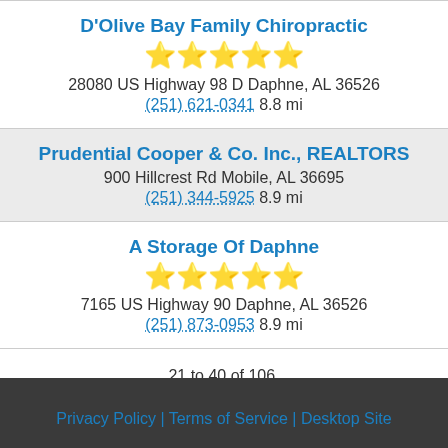D'Olive Bay Family Chiropractic
★★★★★ 28080 US Highway 98 D Daphne, AL 36526 (251) 621-0341 8.8 mi
Prudential Cooper & Co. Inc., REALTORS
900 Hillcrest Rd Mobile, AL 36695 (251) 344-5925 8.9 mi
A Storage Of Daphne
★★★★★ 7165 US Highway 90 Daphne, AL 36526 (251) 873-0953 8.9 mi
21 to 40 of 106.
Last 20 Next 20
Privacy Policy | Terms of Service | Desktop Site